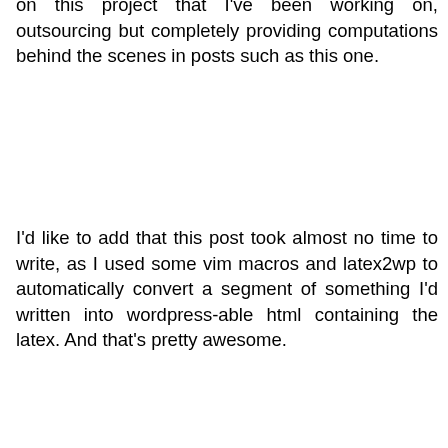on this project that I've been working on, outsourcing but completely providing computations behind the scenes in posts such as this one.
I'd like to add that this post took almost no time to write, as I used some vim macros and latex2wp to automatically convert a segment of something I'd written into wordpress-able html containing the latex. And that's pretty awesome.
There is a particular calculation that I've had to do repeatedly recently, and that I will mention and use again. In an effort to have a readable account of this calculation, I present one such account here. Finally, I cannot help but say that this (and the next few posts,